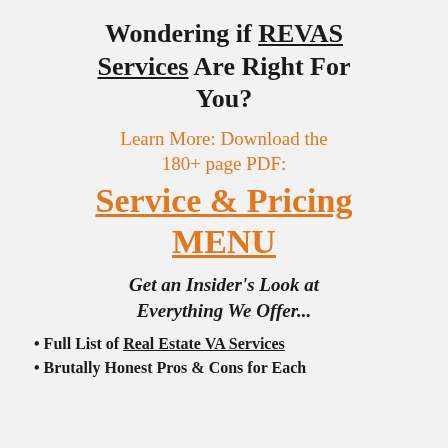Wondering if REVAS Services Are Right For You?
Learn More: Download the 180+ page PDF:
Service & Pricing MENU
Get an Insider's Look at Everything We Offer...
• Full List of Real Estate VA Services
• Brutally Honest Pros & Cons for Each